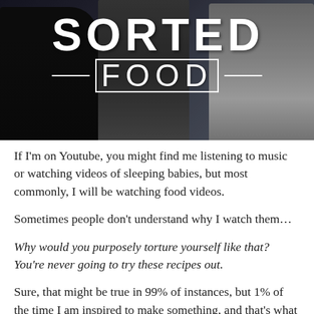[Figure (photo): Photo of the Sorted Food YouTube channel group, showing multiple people standing together with the SORTED FOOD logo overlaid in white text on a dark background.]
If I'm on Youtube, you might find me listening to music or watching videos of sleeping babies, but most commonly, I will be watching food videos.
Sometimes people don't understand why I watch them...
Why would you purposely torture yourself like that? You're never going to try these recipes out.
Sure, that might be true in 99% of instances, but 1% of the time I am inspired to make something, and that's what makes the difference; it's the same reason I have a